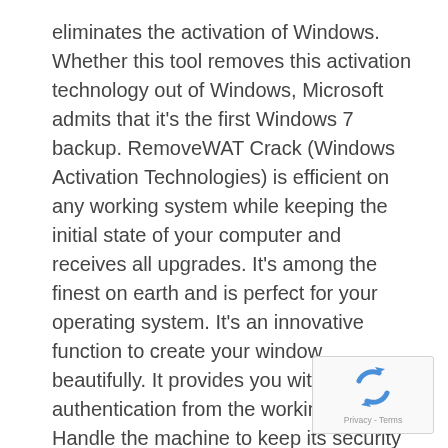eliminates the activation of Windows. Whether this tool removes this activation technology out of Windows, Microsoft admits that it's the first Windows 7 backup. RemoveWAT Crack (Windows Activation Technologies) is efficient on any working system while keeping the initial state of your computer and receives all upgrades. It's among the finest on earth and is perfect for your operating system. It's an innovative function to create your window beautifully. It provides you with complete authentication from the working system. Handle the machine to keep its security and simplicity. There are various kinds of WAT elimination programs. However, they're more comfortable and operate.
[Figure (other): reCAPTCHA widget with rotating arrows icon and Privacy - Terms footer text]